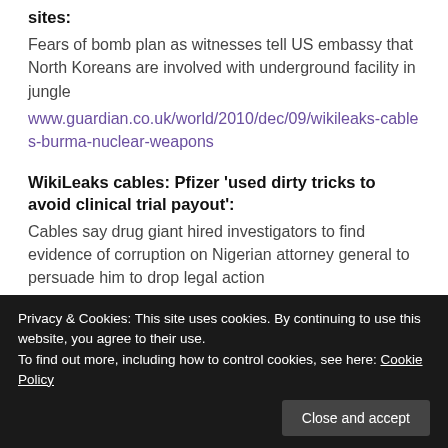sites:
Fears of bomb plan as witnesses tell US embassy that North Koreans are involved with underground facility in jungle
www.guardian.co.uk/world/2010/dec/09/wikileaks-cables-burma-nuclear-weapons
WikiLeaks cables: Pfizer ‘used dirty tricks to avoid clinical trial payout’:
Cables say drug giant hired investigators to find evidence of corruption on Nigerian attorney general to persuade him to drop legal action
www.guardian.co.uk/business/2010/dec/09/wikileaks cables-pfizer-nigeria
Privacy & Cookies: This site uses cookies. By continuing to use this website, you agree to their use.
To find out more, including how to control cookies, see here: Cookie Policy
company ‘knows everything’ about key decisions in